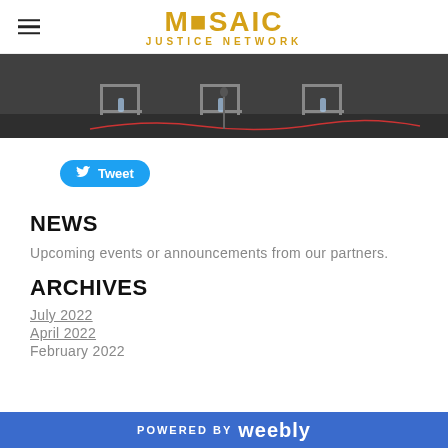MOSAIC JUSTICE NETWORK
[Figure (photo): Photo of empty chairs on a stage with water bottles, microphone stands, and orange cables on a dark floor]
[Figure (other): Tweet button (Twitter/X share button in blue rounded rectangle)]
NEWS
Upcoming events or announcements from our partners.
ARCHIVES
July 2022
April 2022
February 2022
POWERED BY weebly